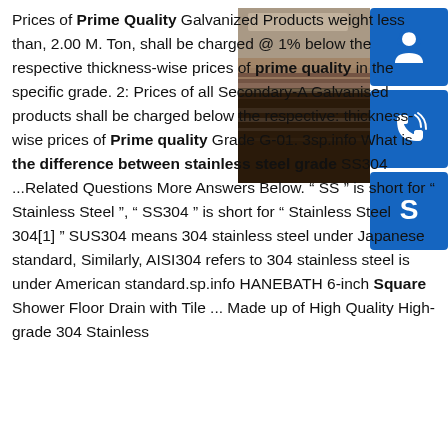Prices of Prime Quality Galvanized Products weight less than, 2.00 M. Ton, shall be charged @ 1% below the respective thickness-wise prices of prime quality in the specific grade. 2: Prices of all Secondary-A Galvanised products shall be charged below the respective: thickness-wise prices of Prime quality Grade G-01. 3sp.info What is the difference between stainless steel grade SS304 ...Related Questions More Answers Below. “ SS ” is short for “ Stainless Steel ”, “ SS304 ” is short for “ Stainless Steel 304[1] ” SUS304 means 304 stainless steel under Japanese standard, Similarly, AISI304 refers to 304 stainless steel is under American standard.sp.info HANEBATH 6-inch Square Shower Floor Drain with Tile ... Made up of High Quality High-grade 304 Stainless
[Figure (photo): Photo of stainless steel or galvanized metal sheets/plates stacked or arranged, showing dark metallic surface with layered edges.]